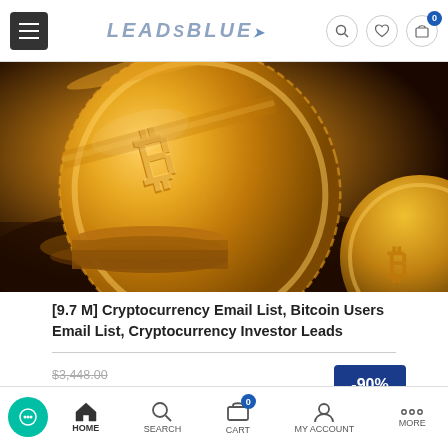LEADSBLUE - Navigation bar with menu, logo, search, wishlist, cart
[Figure (photo): Close-up photo of golden Bitcoin cryptocurrency coins with warm golden lighting]
[9.7 M] Cryptocurrency Email List, Bitcoin Users Email List, Cryptocurrency Investor Leads
Original price: $3,448.00 | Sale price: $349.45 / ₿ 0.01627377 | Bitcoin original price: ₿ 0.16057224 | Discount: -90% OFF
HOME | SEARCH | CART (0) | MY ACCOUNT | MORE